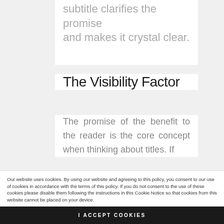subtitle clarifies the promise and makes it crystal clear.
The Visibility Factor
The promise of the benefit to the reader is the core concept when thinking about titles. If
Our website uses cookies. By using our website and agreeing to this policy, you consent to our use of cookies in accordance with the terms of this policy. If you do not consent to the use of these cookies please disable them following the instructions in this Cookie Notice so that cookies from this website cannot be placed on your device.
I ACCEPT COOKIES